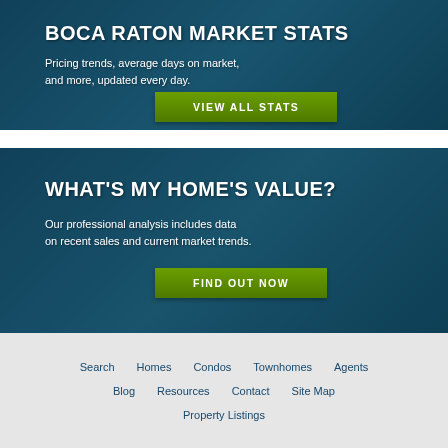BOCA RATON MARKET STATS
Pricing trends, average days on market, and more, updated every day.
VIEW ALL STATS
WHAT'S MY HOME'S VALUE?
Our professional analysis includes data on recent sales and current market trends.
FIND OUT NOW
Search   Homes   Condos   Townhomes   Agents   Blog   Resources   Contact   Site Map   Property Listings